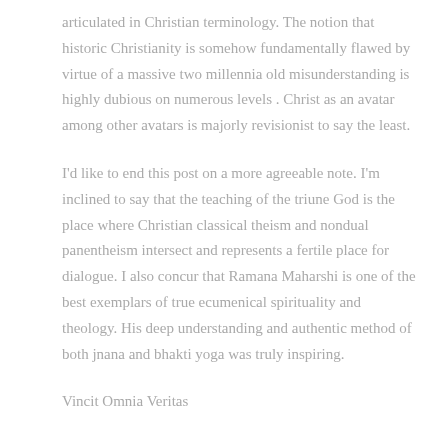articulated in Christian terminology. The notion that historic Christianity is somehow fundamentally flawed by virtue of a massive two millennia old misunderstanding is highly dubious on numerous levels . Christ as an avatar among other avatars is majorly revisionist to say the least.
I'd like to end this post on a more agreeable note. I'm inclined to say that the teaching of the triune God is the place where Christian classical theism and nondual panentheism intersect and represents a fertile place for dialogue. I also concur that Ramana Maharshi is one of the best exemplars of true ecumenical spirituality and theology. His deep understanding and authentic method of both jnana and bhakti yoga was truly inspiring.
Vincit Omnia Veritas